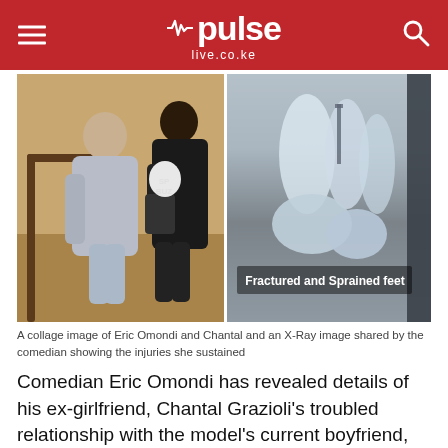pulse live.co.ke
[Figure (photo): Collage of two images: left shows Eric Omondi helping Chantal walk on stairs; right shows an X-Ray image of fractured and sprained feet with text overlay 'Fractured and Sprained feet']
A collage image of Eric Omondi and Chantal and an X-Ray image shared by the comedian showing the injuries she sustained
Comedian Eric Omondi has revealed details of his ex-girlfriend, Chantal Grazioli's troubled relationship with the model's current boyfriend, Nicola Traldi.